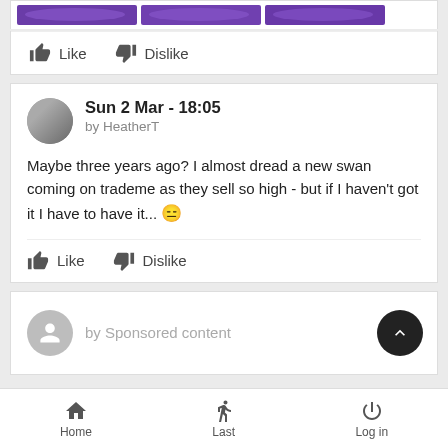[Figure (screenshot): Purple banner thumbnails strip at top]
Like  Dislike
Sun 2 Mar - 18:05
by HeatherT
Maybe three years ago? I almost dread a new swan coming on trademe as they sell so high - but if I haven't got it I have to have it... 😑
Like  Dislike
by Sponsored content
Home  Last  Log in